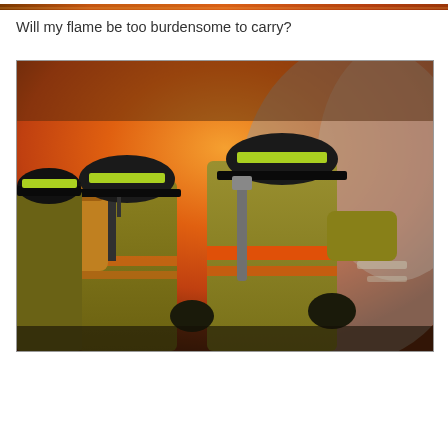[Figure (photo): Partial top strip of an image — orange/fire tones visible at the very top of the page]
Will my flame be too burdensome to carry?
[Figure (photo): Three firefighters in yellow/olive turnout gear and black helmets with yellow-green reflective bands, viewed from behind, facing a large fire with orange and gray smoke. They carry SCBA tanks on their backs and one has orange reflective stripes on the jacket.]